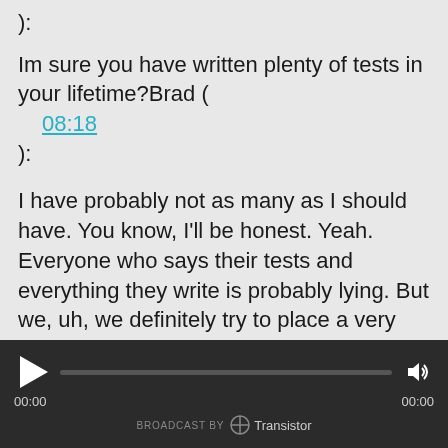):
Im sure you have written plenty of tests in your lifetime?Brad (
08:18
):
I have probably not as many as I should have. You know, I'll be honest. Yeah. Everyone who says their tests and everything they write is probably lying. But we, uh, we definitely try to place a very high priority on testing at Ortus, at least with the pro, the projects that we work on
BROADCAST BY Transistor 00:00 00:00